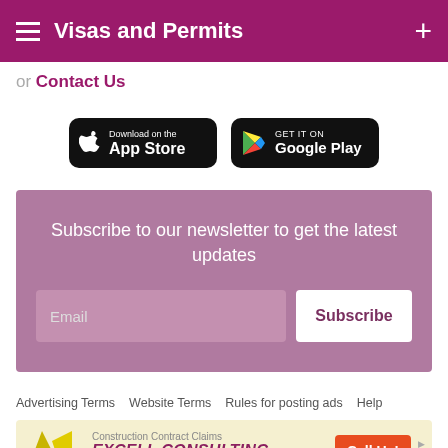Visas and Permits
or Contact Us
[Figure (screenshot): Download on the App Store and Get it on Google Play buttons]
Subscribe to our newsletter to get the latest updates
Email  Subscribe
Advertising Terms   Website Terms   Rules for posting ads   Help
[Figure (infographic): Excell Consulting advertisement banner: Construction Contract Claims, EXCELL CONSULTING, Construction Claims Management, Call Us!]